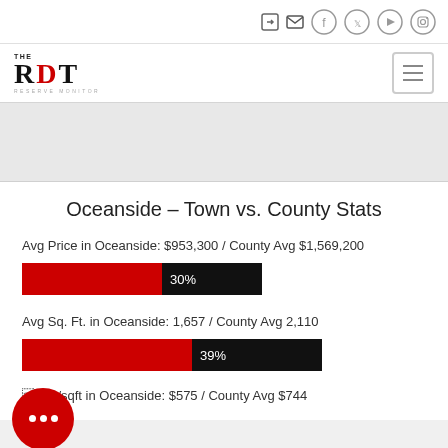THE RDT - navigation icons and logo bar
Oceanside - Town vs. County Stats
Avg Price in Oceanside: $953,300 / County Avg $1,569,200
[Figure (bar-chart): Avg Price comparison]
Avg Sq. Ft. in Oceanside: 1,657 / County Avg 2,110
[Figure (bar-chart): Avg Sq Ft comparison]
Avg Price per/sqft in Oceanside: $575 / County Avg $744